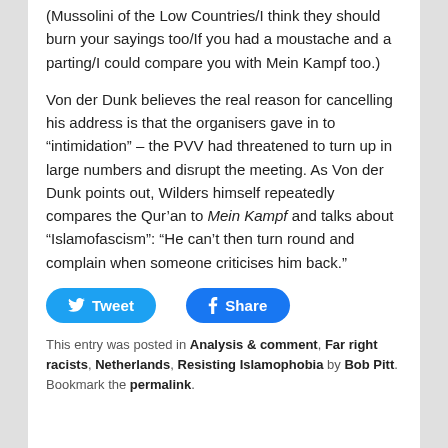(Mussolini of the Low Countries/I think they should burn your sayings too/If you had a moustache and a parting/I could compare you with Mein Kampf too.)
Von der Dunk believes the real reason for cancelling his address is that the organisers gave in to “intimidation” – the PVV had threatened to turn up in large numbers and disrupt the meeting. As Von der Dunk points out, Wilders himself repeatedly compares the Qur’an to Mein Kampf and talks about “Islamofascism”: “He can’t then turn round and complain when someone criticises him back.”
[Figure (other): Tweet and Share social media buttons]
This entry was posted in Analysis & comment, Far right racists, Netherlands, Resisting Islamophobia by Bob Pitt. Bookmark the permalink.